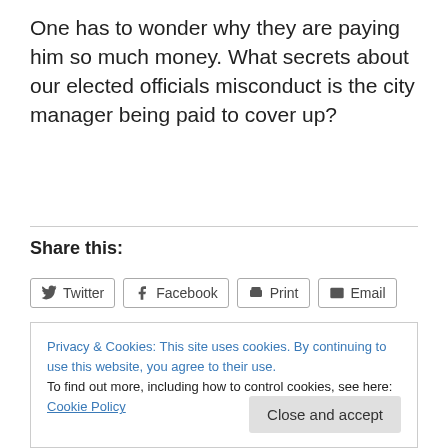One has to wonder why they are paying him so much money. What secrets about our elected officials misconduct is the city manager being paid to cover up?
Share this:
Twitter  Facebook  Print  Email
Like
Be the first to like this.
Privacy & Cookies: This site uses cookies. By continuing to use this website, you agree to their use. To find out more, including how to control cookies, see here: Cookie Policy
Close and accept
relations complaints filed